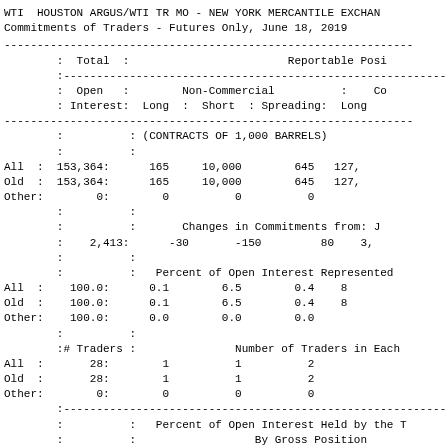WTI HOUSTON ARGUS/WTI TR MO - NEW YORK MERCANTILE EXCHANGE
Commitments of Traders - Futures Only, June 18, 2019
|  | Total : Open Interest | Non-Commercial Long | Non-Commercial Short | Non-Commercial Spreading | Commercial Long (partial) |
| --- | --- | --- | --- | --- | --- |
| (CONTRACTS OF 1,000 BARRELS) |  |  |  |  |  |
| All | 153,364 | 165 | 10,000 | 645 | 127, |
| Old | 153,364 | 165 | 10,000 | 645 | 127, |
| Other | 0 | 0 | 0 | 0 |  |
| Changes in Commitments from: J |  |  |  |  |  |
|  | 2,413 | -30 | -150 | 80 | 3, |
| Percent of Open Interest Represented |  |  |  |  |  |
| All | 100.0 | 0.1 | 6.5 | 0.4 | 8 |
| Old | 100.0 | 0.1 | 6.5 | 0.4 | 8 |
| Other | 100.0 | 0.0 | 0.0 | 0.0 |  |
| # Traders / Number of Traders in Each |  |  |  |  |  |
| All | 28 | 1 | 1 | 2 |  |
| Old | 28 | 1 | 1 | 2 |  |
| Other | 0 | 0 | 0 | 0 |  |
| Percent of Open Interest Held by the T By Gross Position 4 or less Traders  8 or less Trad |  |  |  |  |  |